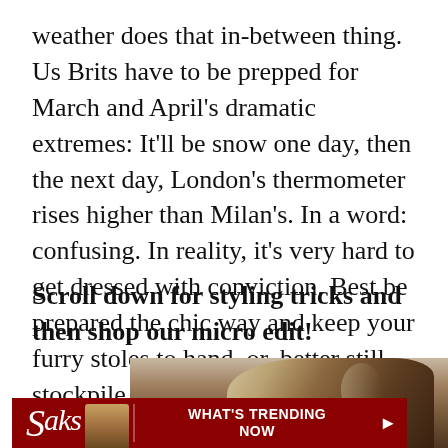weather does that in-between thing. Us Brits have to be prepped for March and April's dramatic extremes: It'll be snow one day, then the next day, London's thermometer rises higher than Milan's. In a word: confusing. In reality, it's very hard to get dressed with conviction. Best be prepared the chic way and keep your furry stoles to hand, or, better still, stockpile on more of the smartest accessory ever.
Scroll down for styling tricks and then shop our micro edit!
[Figure (photo): Close-up photo of the back/top of a woman's head with dark brown hair, slightly highlighted. Background is blurred light blue/grey.]
[Figure (other): Saks Fifth Avenue advertisement banner with dark red background showing the Saks logo in white italic script, a figure sitting on a yellow chair, and the text 'WHAT'S TRENDING NOW' with a right arrow.]